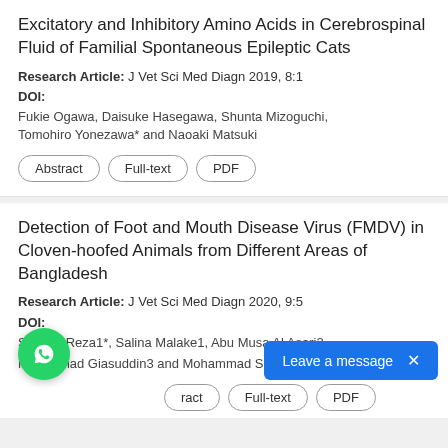Excitatory and Inhibitory Amino Acids in Cerebrospinal Fluid of Familial Spontaneous Epileptic Cats
Research Article: J Vet Sci Med Diagn 2019, 8:1
DOI:
Fukie Ogawa, Daisuke Hasegawa, Shunta Mizoguchi, Tomohiro Yonezawa* and Naoaki Matsuki
Abstract
Full-text
PDF
Detection of Foot and Mouth Disease Virus (FMDV) in Cloven-hoofed Animals from Different Areas of Bangladesh
Research Article: J Vet Sci Med Diagn 2020, 9:5
DOI:
Swarna Reza1*, Salina Malake1, Abu Musa Al Asari2, Mohammad Giasuddin3 and Mohammad Showkat Mahmud3
Abstract
Full-text
PDF